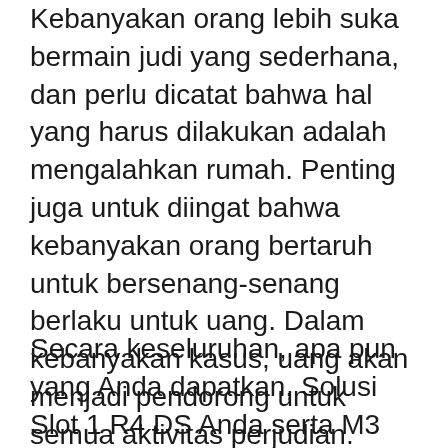Kebanyakan orang lebih suka bermain judi yang sederhana, dan perlu dicatat bahwa hal yang harus dilakukan adalah mengalahkan rumah. Penting juga untuk diingat bahwa kebanyakan orang bertaruh untuk bersenang-senang berlaku untuk uang. Dalam kebanyakan kasus, uang akan menjadi pendorong untuk semua aktivitas perjudian. Menjamin bahwa pemain untuk mengambil keuntungan dari kegiatan, penting bahwa mereka diajarkan beberapa hal dasar tentang hal itu.
Secara keseluruhan, apa pun yang Anda dapatkan, Solusi Slot 1 R4 DS Anda serta M3 DS Simply adalah aksesori yang sangat baik untuk Nintendo DS / Nintendo ds lite. Yang mana yang Anda dapatkan seharusnya